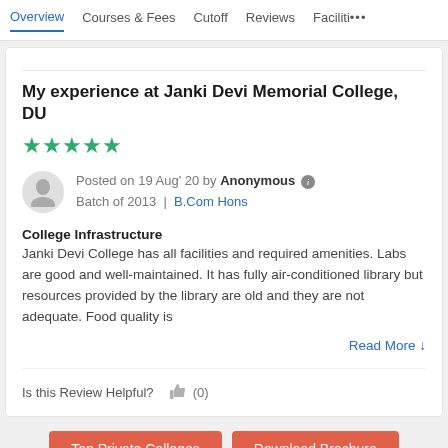Overview | Courses & Fees | Cutoff | Reviews | Faciliti...
My experience at Janki Devi Memorial College, DU
★★★★★ (5 stars)
Posted on 19 Aug' 20 by Anonymous  Batch of 2013 | B.Com Hons
College Infrastructure
Janki Devi College has all facilities and required amenities. Labs are good and well-maintained. It has fully air-conditioned library but resources provided by the library are old and they are not adequate. Food quality is
Read More ↓
Is this Review Helpful?  (0)
Top Private Colleges | Download Brochure | Add to Compare